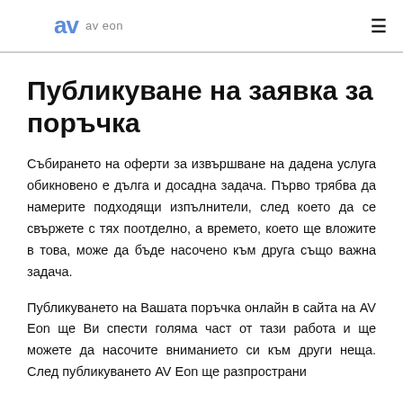av eon
Публикуване на заявка за поръчка
Събирането на оферти за извършване на дадена услуга обикновено е дълга и досадна задача. Първо трябва да намерите подходящи изпълнители, след което да се свържете с тях поотделно, а времето, което ще вложите в това, може да бъде насочено към друга също важна задача.
Публикуването на Вашата поръчка онлайн в сайта на AV Eon ще Ви спести голяма част от тази работа и ще можете да насочите вниманието си към други неща. След публикуването AV Eon ще разпространи